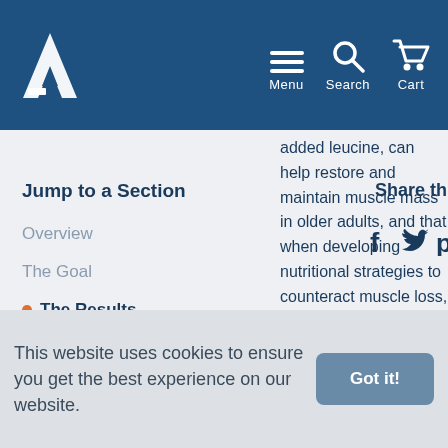Atkins website navigation bar with logo, Menu, Search, Cart
added leucine, can help restore and maintain muscle mass in older adults, and that when developing nutritional strategies to counteract muscle loss, inefficient sources of
Jump to a Section
Overview
The Goal
The Results
The Why
Share th
This website uses cookies to ensure you get the best experience on our website.
Got it!